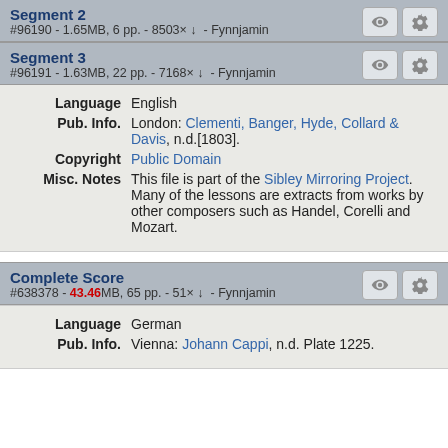Segment 2
#96190 - 1.65MB, 6 pp. - 8503× ↓ - Fynnjamin
Segment 3
#96191 - 1.63MB, 22 pp. - 7168× ↓ - Fynnjamin
Language   English
Pub. Info.   London: Clementi, Banger, Hyde, Collard & Davis, n.d.[1803].
Copyright   Public Domain
Misc. Notes   This file is part of the Sibley Mirroring Project. Many of the lessons are extracts from works by other composers such as Handel, Corelli and Mozart.
Complete Score
#638378 - 43.46MB, 65 pp. - 51× ↓ - Fynnjamin
Language   German
Pub. Info.   Vienna: Johann Cappi, n.d. Plate 1225.